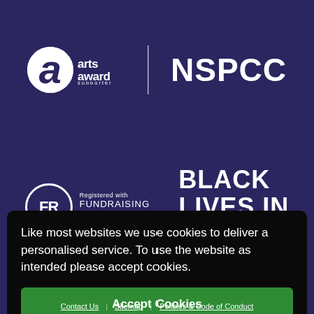[Figure (logo): Arts Award supporter logo — circular 'a' emblem with 'arts award' text and 'supporter' underneath, white on dark blue background]
[Figure (logo): NSPCC logo in bold white text on dark blue background]
[Figure (logo): Fundraising Regulator logo — circular FR badge with 'Registered with FUNDRAISING REGULATOR' text, white on dark blue]
[Figure (logo): Black Lives In Music logo — bold white uppercase text on dark blue background]
Like most websites we use cookies to deliver a personalised service. To use the website as intended please accept cookies.
Accept Cookies
Contact Us | Sitemap | Policies & Code of Conduct